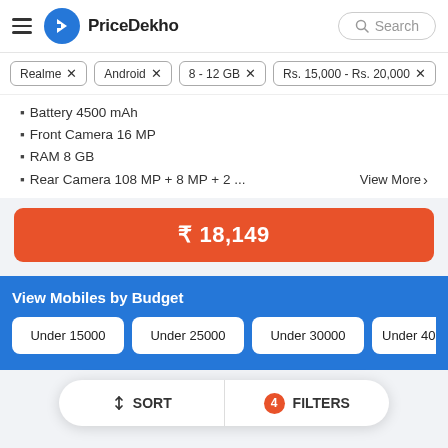PriceDekho
Realme ×  Android ×  8 - 12 GB ×  Rs. 15,000 - Rs. 20,000 ×
Battery 4500 mAh
Front Camera 16 MP
RAM 8 GB
Rear Camera 108 MP + 8 MP + 2 ...   View More >
₹ 18,149
View Mobiles by Budget
Under 15000
Under 25000
Under 30000
Under 400...
↕ SORT   |   4 FILTERS